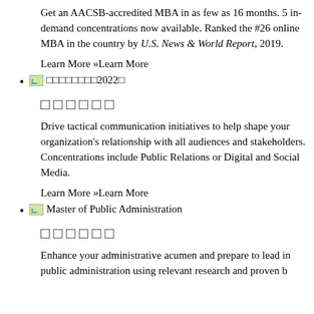Get an AACSB-accredited MBA in as few as 16 months. 5 in-demand concentrations now available. Ranked the #26 online MBA in the country by U.S. News & World Report, 2019.
Learn More »Learn More
[image]□□□□□□□□2022□
□□□□□□
Drive tactical communication initiatives to help shape your organization's relationship with all audiences and stakeholders. Concentrations include Public Relations or Digital and Social Media.
Learn More »Learn More
[image] Master of Public Administration
□□□□□□
Enhance your administrative acumen and prepare to lead in public administration using relevant research and proven best practices.